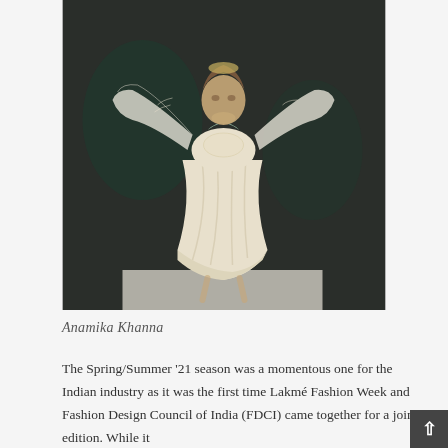[Figure (photo): A model on a runway wearing a draped cream/off-white outfit with voluminous sheer sleeves and embellished bodice, photographed against a dark teal/grey background. The garment appears to be a draped sari-style design.]
Anamika Khanna
The Spring/Summer '21 season was a momentous one for the Indian industry as it was the first time Lakmé Fashion Week and Fashion Design Council of India (FDCI) came together for a joint edition. While it